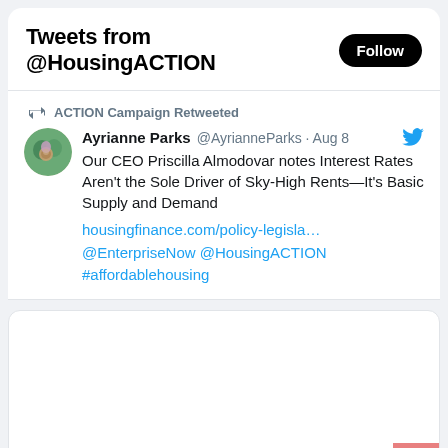Tweets from @HousingACTION
ACTION Campaign Retweeted
Ayrianne Parks @AyrianneParks · Aug 8
Our CEO Priscilla Almodovar notes Interest Rates Aren't the Sole Driver of Sky-High Rents—It's Basic Supply and Demand housingfinance.com/policy-legisla… @EnterpriseNow @HousingACTION #affordablehousing
[Figure (screenshot): Embedded tweet card placeholder (blank white rounded rectangle)]